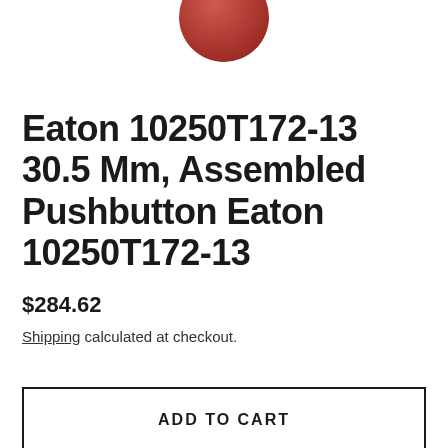[Figure (photo): Partial view of a red pushbutton component, cropped at top of page]
Eaton 10250T172-13 30.5 Mm, Assembled Pushbutton Eaton 10250T172-13
$284.62
Shipping calculated at checkout.
ADD TO CART